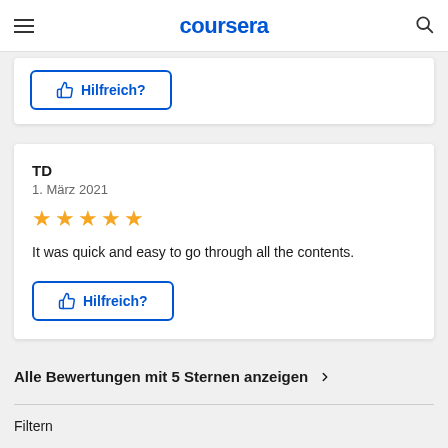coursera
Hilfreich?
TD
1. März 2021
★★★★★
It was quick and easy to go through all the contents.
Hilfreich?
Alle Bewertungen mit 5 Sternen anzeigen
Filtern